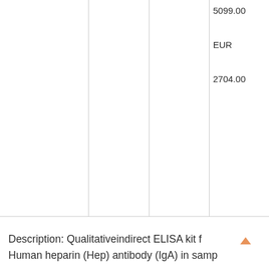|  |  |  | Price |
| --- | --- | --- | --- |
|  |  |  | 5099.00
EUR
2704.00 |
Description: Qualitativeindirect ELISA kit for Human heparin (Hep) antibody (IgA) in samp